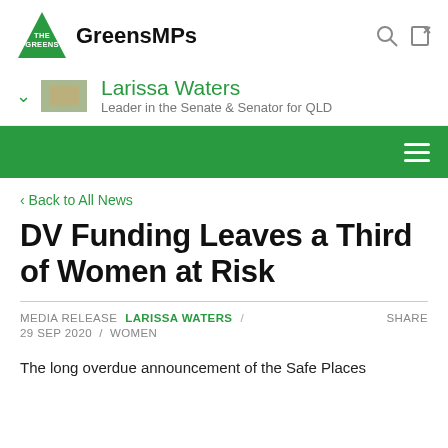GreensMPs
Larissa Waters
Leader in the Senate & Senator for QLD
< Back to All News
DV Funding Leaves a Third of Women at Risk
MEDIA RELEASE  LARISSA WATERS /  SHARE
29 SEP 2020  /  WOMEN
The long overdue announcement of the Safe Places